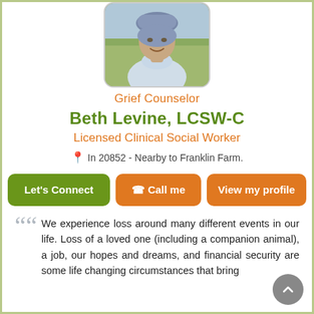[Figure (photo): Profile photo of Beth Levine, a woman wearing a turtleneck sweater and hat, outdoors]
Grief Counselor
Beth Levine, LCSW-C
Licensed Clinical Social Worker
In 20852 - Nearby to Franklin Farm.
Let's Connect   Call me   View my profile
We experience loss around many different events in our life. Loss of a loved one (including a companion animal), a job, our hopes and dreams, and financial security are some life changing circumstances that bring